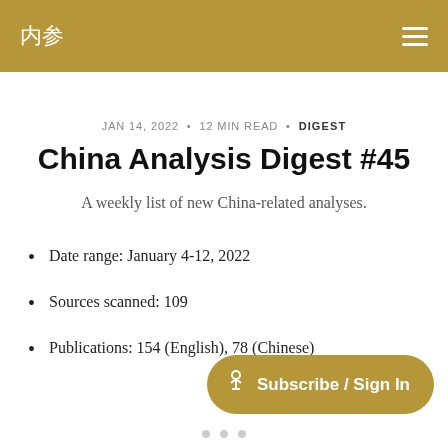内参
JAN 14, 2022 • 12 MIN READ • DIGEST
China Analysis Digest #45
A weekly list of new China-related analyses.
Date range: January 4-12, 2022
Sources scanned: 109
Publications: 154 (English), 78 (Chinese)